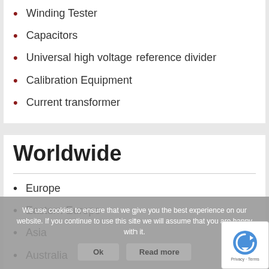Winding Tester
Capacitors
Universal high voltage reference divider
Calibration Equipment
Current transformer
Worldwide
Europe
Eastern Europe
Asia
Australia
America N/S
Africa
We use cookies to ensure that we give you the best experience on our website. If you continue to use this site we will assume that you are happy with it.